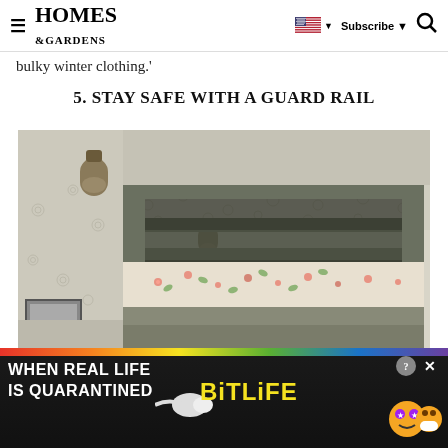HOMES & GARDENS — Subscribe — Search
bulky winter clothing.'
5. STAY SAFE WITH A GUARD RAIL
[Figure (photo): Close-up photo of a grey bunk bed guard rail with floral wallpaper in the background and a floral bedsheet on the upper bunk. A wall-mounted light fixture is visible on the left side.]
[Figure (screenshot): Advertisement banner for BitLife mobile game with rainbow stripe at top, white text on dark background reading WHEN REAL LIFE IS QUARANTINED, yellow BitLife logo, emoji characters with star eyes and mask, and close/info buttons.]